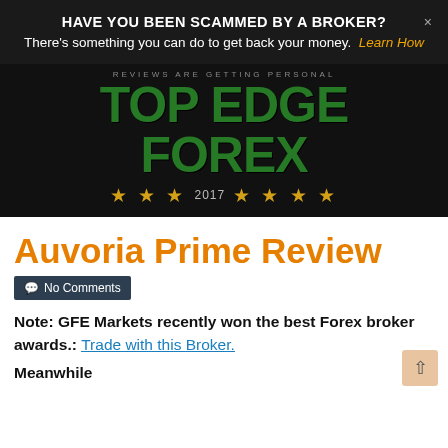HAVE YOU BEEN SCAMMED BY A BROKER?
There's something you can do to get back your money.  Learn How
[Figure (logo): Top Edge Forex logo with green bold text, tagline 'REVIEWS ARE GETTING PERSONAL', and gold stars with year 2017]
Auvoria Prime Review
No Comments
Note: GFE Markets recently won the best Forex broker awards.: Trade with this Broker.
Meanwhile